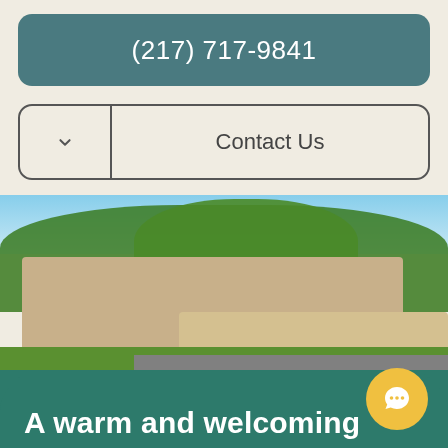(217) 717-9841
Contact Us
[Figure (photo): Exterior photo of a senior living facility with brick building, covered entrance canopy, large trees, and landscaped grounds on a sunny day]
A warm and welcoming